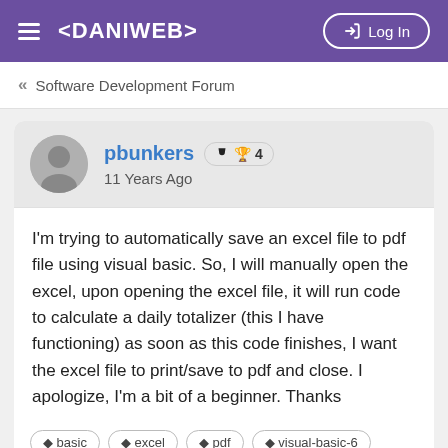≡ <DANIWEB> → Log In
« Software Development Forum
pbunkers 🏆 4
11 Years Ago
I'm trying to automatically save an excel file to pdf file using visual basic. So, I will manually open the excel, upon opening the excel file, it will run code to calculate a daily totalizer (this I have functioning) as soon as this code finishes, I want the excel file to print/save to pdf and close. I apologize, I'm a bit of a beginner. Thanks
basic
excel
pdf
visual-basic-6
👍 0  👎 0